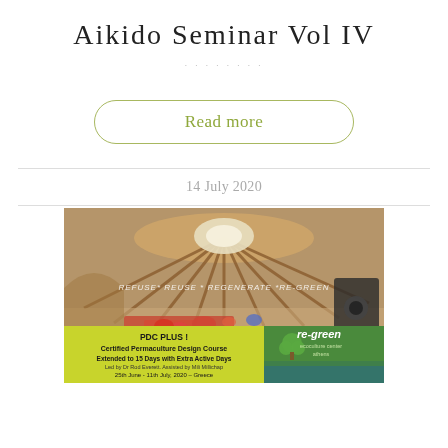Aikido Seminar Vol IV
Read more
14 July 2020
[Figure (photo): Advertisement image for re-green ecoculture center. Shows interior of a wooden roundhouse/yurt with text overlay 'REFUSE REUSE REGENERATE RE-GREEN'. Below is a banner for 'PDC PLUS! Certified Permaculture Design Course Extended to 15 Days with Extra Active Days. Led by Dr Rod Everett. Assisted by Mili Millichap. 25th June - 11th July, 2020 - Greece. Book Now!! info@re-green.gr www.re-green.gr'. The re-green logo appears on the right side.]